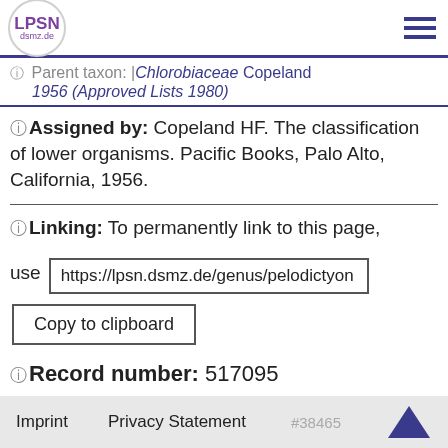LPSN dsmz.de — navigation header
Parent taxon: Chlorobiaceae Copeland 1956 (Approved Lists 1980)
ⓘ Assigned by: Copeland HF. The classification of lower organisms. Pacific Books, Palo Alto, California, 1956.
ⓘ Linking: To permanently link to this page, use https://lpsn.dsmz.de/genus/pelodictyon
Copy to clipboard
ⓘ Record number: 517095
Imprint   Privacy Statement   #38465